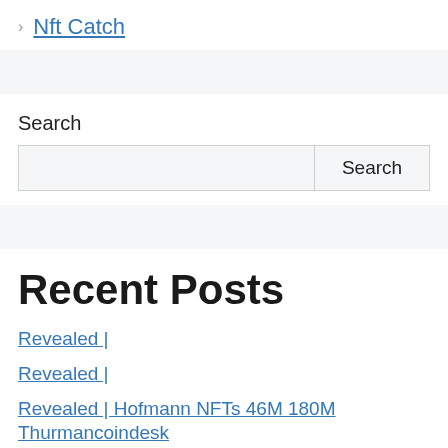> Nft Catch
Search
Recent Posts
Revealed |
Revealed |
Revealed | Hofmann NFTs 46M 180M Thurmancoindesk